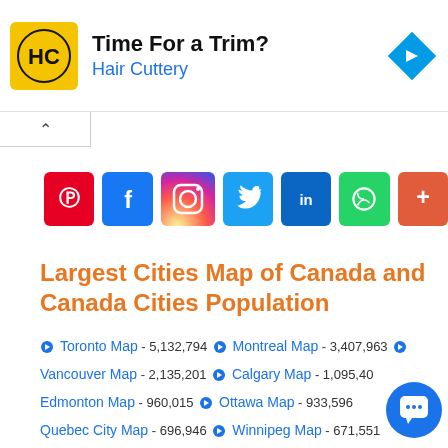[Figure (infographic): Hair Cuttery advertisement banner: yellow logo with HC initials, headline 'Time For a Trim?', subtext 'Hair Cuttery', blue diamond navigation icon]
[Figure (infographic): Row of social media share icons: Pinterest, Facebook, Instagram, Twitter, LinkedIn, WhatsApp, and a more/add icon]
Largest Cities Map of Canada and Canada Cities Population
Toronto Map - 5,132,794   Montreal Map - 3,407,963
Vancouver Map - 2,135,201   Calgary Map - 1,095,40...
Edmonton Map - 960,015   Ottawa Map - 933,596
Quebec City Map - 696,946   Winnipeg Map - 671,551